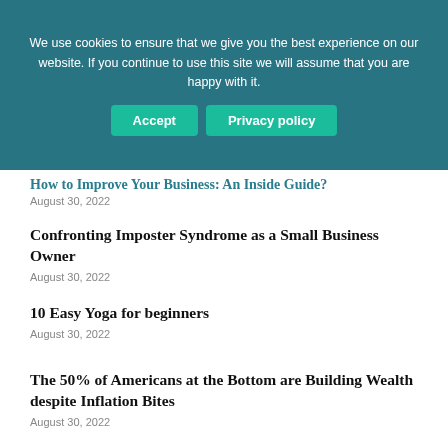We use cookies to ensure that we give you the best experience on our website. If you continue to use this site we will assume that you are happy with it.
Accept | Privacy policy
How to Improve Your Business: An Inside Guide?
August 30, 2022
Confronting Imposter Syndrome as a Small Business Owner
August 30, 2022
10 Easy Yoga for beginners
August 30, 2022
The 50% of Americans at the Bottom are Building Wealth despite Inflation Bites
August 30, 2022